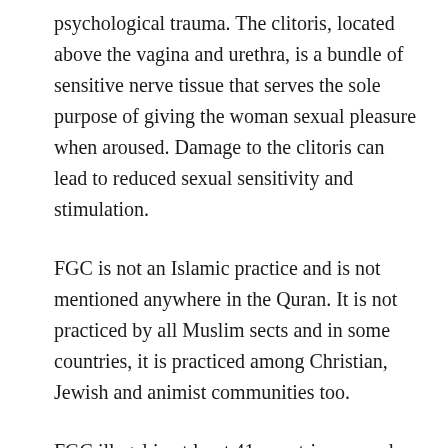psychological trauma. The clitoris, located above the vagina and urethra, is a bundle of sensitive nerve tissue that serves the sole purpose of giving the woman sexual pleasure when aroused. Damage to the clitoris can lead to reduced sexual sensitivity and stimulation.
FGC is not an Islamic practice and is not mentioned anywhere in the Quran. It is not practiced by all Muslim sects and in some countries, it is practiced among Christian, Jewish and animist communities too.
FGC illegal in at least 41 countries around the world, including in Egypt and several African countries. India does not have a specific law against FGC, but the Supreme Court is currently hearing a Public Interest Litigation by an